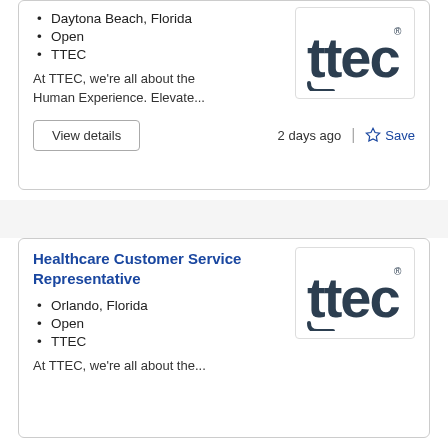Daytona Beach, Florida
Open
TTEC
[Figure (logo): TTEC company logo — dark teal stylized text 'ttec' with registered trademark symbol]
At TTEC, we're all about the Human Experience. Elevate...
2 days ago
Healthcare Customer Service Representative
Orlando, Florida
Open
TTEC
[Figure (logo): TTEC company logo — dark teal stylized text 'ttec' with registered trademark symbol]
At TTEC, we're all about the...